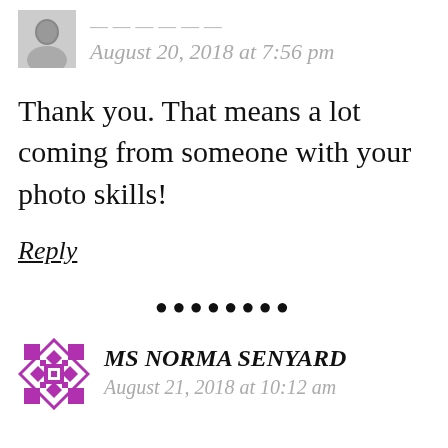[Figure (photo): Small black and white avatar photo of a person]
August 20, 2018 at 7:56 pm
Thank you. That means a lot coming from someone with your photo skills!
Reply
• • • • • • • •
[Figure (illustration): Purple geometric quilt-pattern avatar icon for MS NORMA SENYARD]
MS NORMA SENYARD
August 21, 2018 at 10:12 am